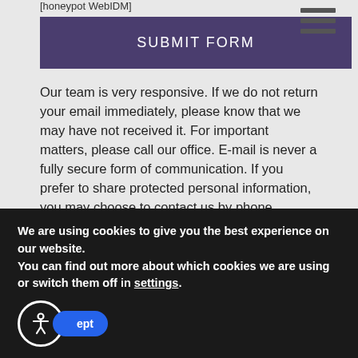[honeypot WebIDM]
SUBMIT FORM
Our team is very responsive. If we do not return your email immediately, please know that we may have not received it. For important matters, please call our office. E-mail is never a fully secure form of communication. If you prefer to share protected personal information, you may choose to contact us by phone.
Comprehensive Dentistry in a Friendly and Relaxing Environment
We are using cookies to give you the best experience on our website.
You can find out more about which cookies we are using or switch them off in settings.